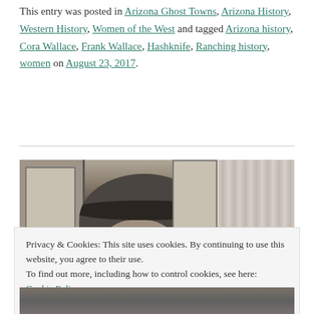This entry was posted in Arizona Ghost Towns, Arizona History, Western History, Women of the West and tagged Arizona history, Cora Wallace, Frank Wallace, Hashknife, Ranching history, women on August 23, 2017.
[Figure (photo): Black and white photograph of a woman wearing a wide-brimmed hat, partially visible through a window with curtains in the background.]
Privacy & Cookies: This site uses cookies. By continuing to use this website, you agree to their use.
To find out more, including how to control cookies, see here: Cookie Policy
Close and accept